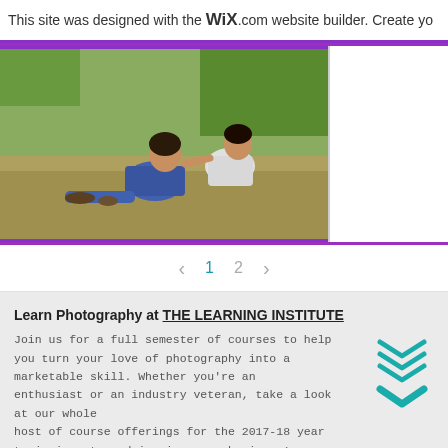This site was designed with the WIX.com website builder. Create yo
[Figure (photo): Outdoor photo of a person sitting on grass with a child, green trees in background]
< 1 2 >
Learn Photography at THE LEARNING INSTITUTE
Join us for a full semester of courses to help you turn your love of photography into a marketable skill. Whether you're an enthusiast or an industry veteran, take a look at our whole host of course offerings for the 2017-18 year to invigorate and inspire your business! Classes begin Aug 2017. APPLY NOW | LEARN MORE